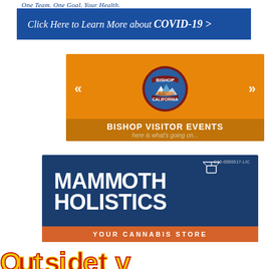One Team. One Goal. Your Health.
[Figure (infographic): Blue banner with text: Click Here to Learn More about COVID-19 >]
[Figure (infographic): Orange banner with Bishop California seal logo, navigation arrows, text: BISHOP VISITOR EVENTS here is what's going on...]
[Figure (logo): Mammoth Holistics logo on dark blue background with gondola icon, text: MAMMOTH HOLISTICS YOUR CANNABIS STORE, license C10-0000617-LIC]
[Figure (logo): Partial Outside TV logo visible at bottom of page in yellow and red lettering]